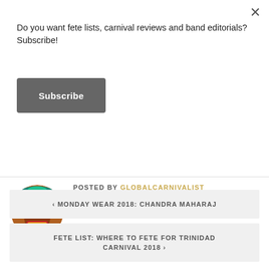Do you want fete lists, carnival reviews and band editorials? Subscribe!
Subscribe
POSTED BY GLOBALCARNIVALIST
Carnival from a masquerader perspective - Where to fete? Band reviews? What to wear? I got you!
‹ MONDAY WEAR 2018: CHANDRA MAHARAJ
FETE LIST: WHERE TO FETE FOR TRINIDAD CARNIVAL 2018 ›